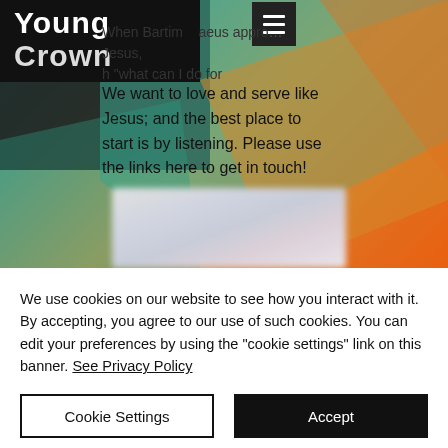[Figure (screenshot): Website screenshot of 'Young Crown' organization page with colorful teal and orange geometric background, logo, hamburger menu, partial Bible quote text, and a blurred form widget]
When Bartimaeus approached Jesus, "what can I do for
We want to love and serve like Jesus; and the best place to start is by listening. Please use the links here to get in touch!
We use cookies on our website to see how you interact with it. By accepting, you agree to our use of such cookies. You can edit your preferences by using the "cookie settings" link on this banner. See Privacy Policy
Cookie Settings
Accept